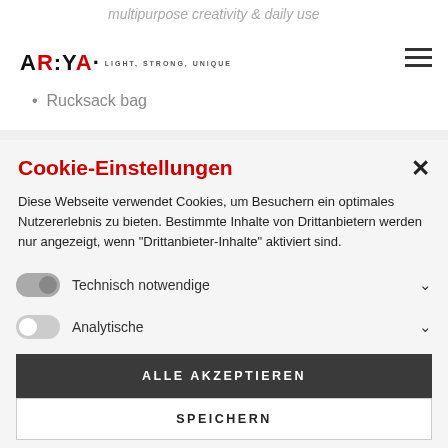multipurpose creativity & daily use • Rucksack bag | ARYA LIGHT, STRONG, UNIQUE
Cookie-Einstellungen
Diese Webseite verwendet Cookies, um Besuchern ein optimales Nutzererlebnis zu bieten. Bestimmte Inhalte von Drittanbietern werden nur angezeigt, wenn "Drittanbieter-Inhalte" aktiviert sind.
Technisch notwendige
Analytische
Drittanbieter-Inhalte
ALLE AKZEPTIEREN
SPEICHERN